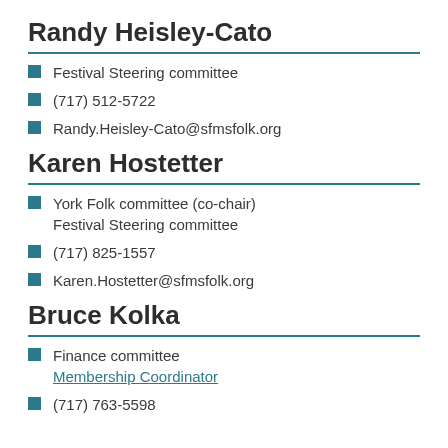Randy Heisley-Cato
Festival Steering committee
(717) 512-5722
Randy.Heisley-Cato@sfmsfolk.org
Karen Hostetter
York Folk committee (co-chair) Festival Steering committee
(717) 825-1557
Karen.Hostetter@sfmsfolk.org
Bruce Kolka
Finance committee Membership Coordinator
(717) 763-5598